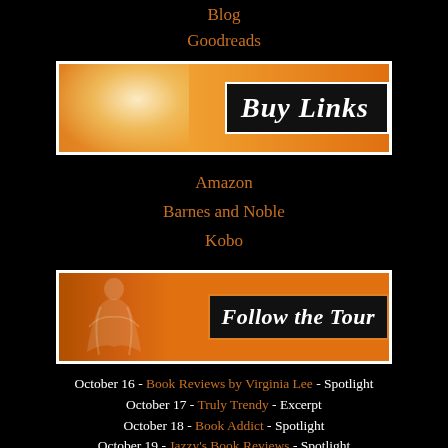Blog
Goodreads
[Figure (illustration): Buy Links banner with orange gradient background, glowing light effect on left, and a black bordered box on right with italic white text 'Buy Links']
Amazon
Barnes and Noble
Kobo
[Figure (illustration): Follow the Tour banner with orange background, silhouette of a woman figure on left, and a black bordered box on right with italic white text 'Follow the Tour']
October 16 - Book Reviews by Virginia Lee - Spotlight
October 17 - Truly Trendy - Excerpt
October 18 - Book Addict - Spotlight
October 19 - Jazzy's Book Reviews - Spotlight